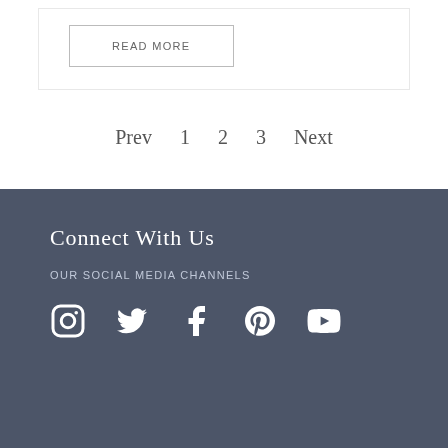READ MORE
Prev  1  2  3  Next
Connect With Us
Our Social Media Channels
[Figure (other): Social media icons: Instagram, Twitter, Facebook, Pinterest, YouTube]